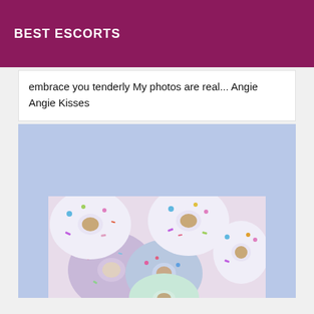BEST ESCORTS
embrace you tenderly My photos are real... Angie Angie Kisses
[Figure (photo): Photo of colorful frosted donuts with sprinkles arranged on a light background, shown partially at the bottom of a light blue/periwinkle card.]